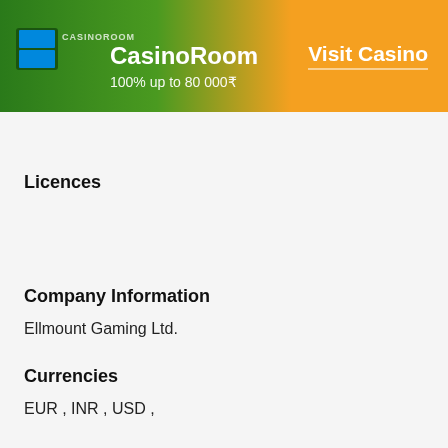CasinoRoom 100% up to 80 000₹ Visit Casino
Licences
Company Information
Ellmount Gaming Ltd.
Currencies
EUR , INR , USD ,